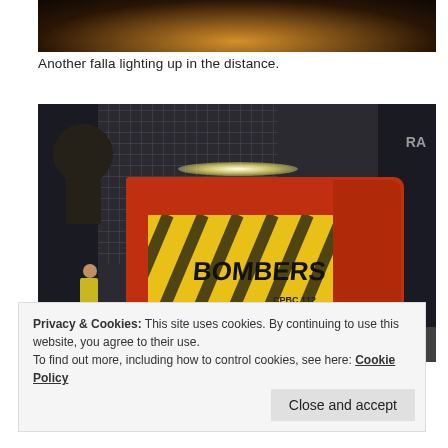[Figure (photo): Nighttime photo showing a falla (Valencian festival fire sculpture) lighting up in the distance with orange glow against dark sky]
Another falla lighting up in the distance.
[Figure (photo): Nighttime photo of a BOMBERS (firefighters) fire truck labeled CPBC with yellow and red livery parked on a street, a person in a yellow safety vest standing nearby, building in background]
Privacy & Cookies: This site uses cookies. By continuing to use this website, you agree to their use.
To find out more, including how to control cookies, see here: Cookie Policy
Close and accept